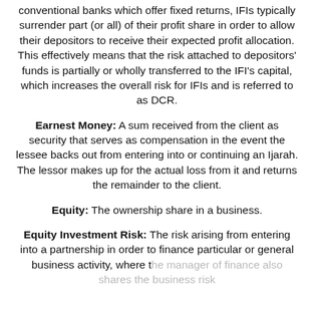conventional banks which offer fixed returns, IFIs typically surrender part (or all) of their profit share in order to allow their depositors to receive their expected profit allocation. This effectively means that the risk attached to depositors' funds is partially or wholly transferred to the IFI's capital, which increases the overall risk for IFIs and is referred to as DCR.
Earnest Money: A sum received from the client as security that serves as compensation in the event the lessee backs out from entering into or continuing an Ijarah. The lessor makes up for the actual loss from it and returns the remainder to the client.
Equity: The ownership share in a business.
Equity Investment Risk: The risk arising from entering into a partnership in order to finance particular or general business activity, where the manager of finance also shares the business risk...